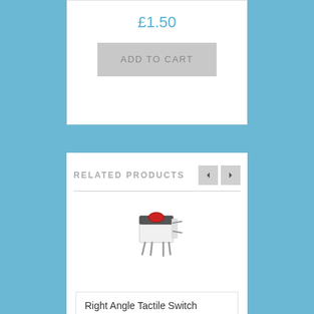£1.50
ADD TO CART
RELATED PRODUCTS
[Figure (photo): A right angle tactile switch component, white/grey body with a red button on top and metal pins, photographed on white background.]
Right Angle Tactile Switch